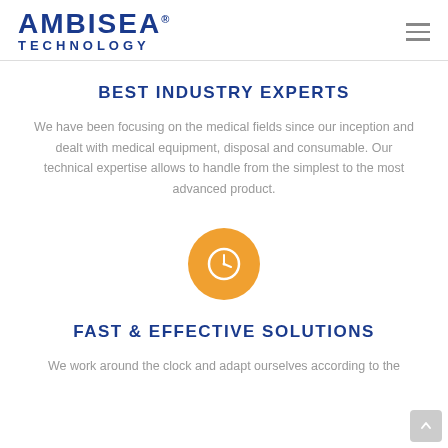AMBISEA TECHNOLOGY
BEST INDUSTRY EXPERTS
We have been focusing on the medical fields since our inception and dealt with medical equipment, disposal and consumable. Our technical expertise allows to handle from the simplest to the most advanced product.
[Figure (illustration): Orange circle icon with a clock/time symbol in white]
FAST & EFFECTIVE SOLUTIONS
We work around the clock and adapt ourselves according to the